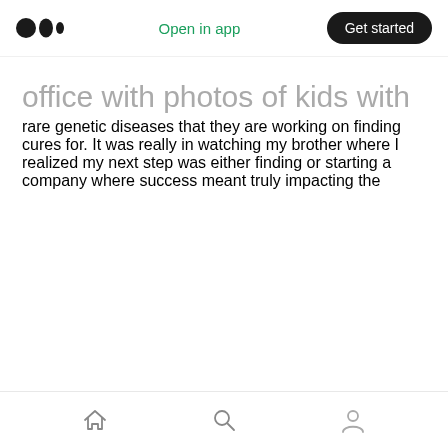Medium logo | Open in app | Get started
office with photos of kids with rare genetic diseases that they are working on finding cures for. It was really in watching my brother where I realized my next step was either finding or starting a company where success meant truly impacting the
Home | Search | Profile